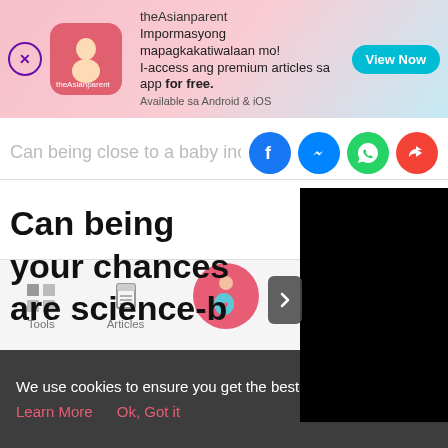[Figure (screenshot): theAsianparent app advertisement banner with logo, tagline in Filipino, and 'View Now' button]
Can being close to a baby increase y
[Figure (screenshot): Social media share icons: Facebook, Messenger, WhatsApp, Share]
Can being close to a baby increase your chances... are science-b
[Figure (screenshot): Black video overlay panel covering right portion of article title area]
[Figure (screenshot): Bottom navigation bar with Tools, Articles, Home (pregnant woman icon), Feed, Poll icons]
We use cookies to ensure you get the best experience.
Learn More   Ok, Got it